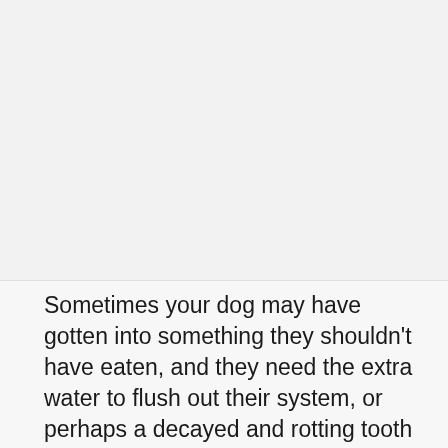[Figure (other): Blank or whitespace image area at the top of the page]
Sometimes your dog may have gotten into something they shouldn't have eaten, and they need the extra water to flush out their system, or perhaps a decayed and rotting tooth is causing them to develop a slight